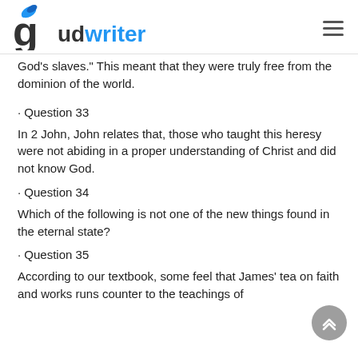gudwriter
God’s slaves.” This meant that they were truly free from the dominion of the world.
- Question 33
In 2 John, John relates that, those who taught this heresy were not abiding in a proper understanding of Christ and did not know God.
- Question 34
Which of the following is not one of the new things found in the eternal state?
- Question 35
According to our textbook, some feel that James’ tea on faith and works runs counter to the teachings of